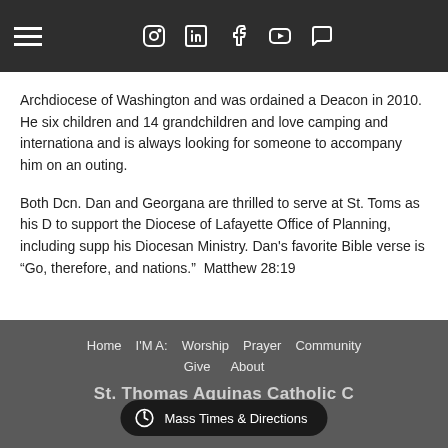Navigation bar with hamburger menu and social icons (Instagram, LinkedIn, Facebook, YouTube, Chat)
Archdiocese of Washington and was ordained a Deacon in 2010.  He six children and 14 grandchildren and love camping and internationa and is always looking for someone to accompany him on an outing.
Both Dcn. Dan and Georgana are thrilled to serve at St. Toms as his D to support the Diocese of Lafayette Office of Planning, including supp his Diocesan Ministry. Dan's favorite Bible verse is “Go, therefore, and nations.”  Matthew 28:19
Home   I'M A:   Worship   Prayer   Community   Give   About   St. Thomas Aquinas Catholic C   535 W   479
Mass Times & Directions